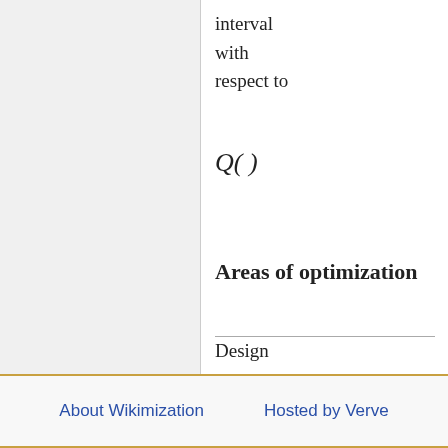interval with respect to
Areas of optimization
Design
Runtime
Calibration usage
About Wikimization   Hosted by Verve